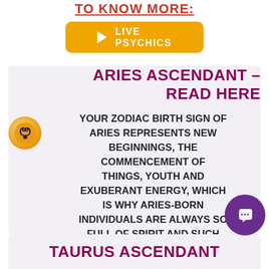TO KNOW MORE:
[Figure (other): Orange button with play triangle icon and text LIVE PSYCHICS]
ARIES ASCENDANT – READ HERE
[Figure (illustration): Aries zodiac symbol (ram horns) on orange circular background]
YOUR ZODIAC BIRTH SIGN OF ARIES REPRESENTS NEW BEGINNINGS, THE COMMENCEMENT OF THINGS, YOUTH AND EXUBERANT ENERGY, WHICH IS WHY ARIES-BORN INDIVIDUALS ARE ALWAYS SO FULL OF SPIRIT AND SUCH HIGH ENERGY LEVELS
TAURUS ASCENDANT